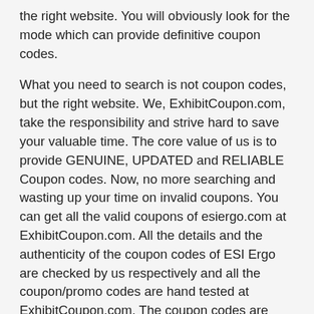the right website. You will obviously look for the mode which can provide definitive coupon codes.
What you need to search is not coupon codes, but the right website. We, ExhibitCoupon.com, take the responsibility and strive hard to save your valuable time. The core value of us is to provide GENUINE, UPDATED and RELIABLE Coupon codes. Now, no more searching and wasting up your time on invalid coupons. You can get all the valid coupons of esiergo.com at ExhibitCoupon.com. All the details and the authenticity of the coupon codes of ESI Ergo are checked by us respectively and all the coupon/promo codes are hand tested at ExhibitCoupon.com. The coupon codes are rechecked at a regular basis and you can find the entire list of ESI Ergo coupons at ExhibitCoupon.com. Furthermore, you can find all the latest and updated offers of esiergo.com with clear notification in our